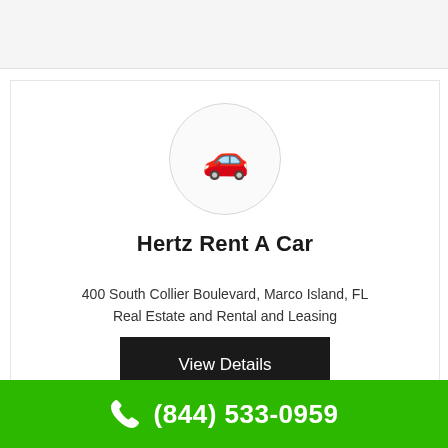[Figure (logo): Car with luggage on roof emoji icon inside a light gray circle]
Hertz Rent A Car
400 South Collier Boulevard, Marco Island, FL
Real Estate and Rental and Leasing
View Details
(844) 533-0959